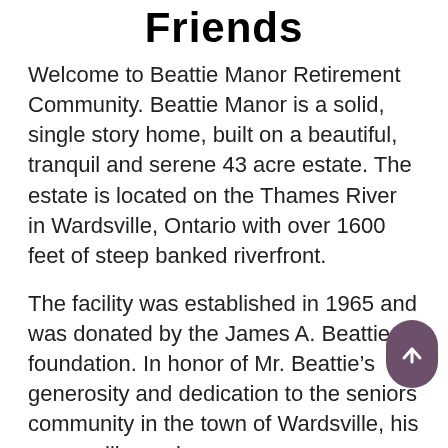Friends
Welcome to Beattie Manor Retirement Community. Beattie Manor is a solid, single story home, built on a beautiful, tranquil and serene 43 acre estate. The estate is located on the Thames River in Wardsville, Ontario with over 1600 feet of steep banked riverfront.
The facility was established in 1965 and was donated by the James A. Beattie foundation. In honor of Mr. Beattie’s generosity and dedication to the seniors community in the town of Wardsville, his name will remain.
Beattie Manor has up to 35 beds, independent and assisted living. We are a smaller home, which gives us the ability to adapt to all of our